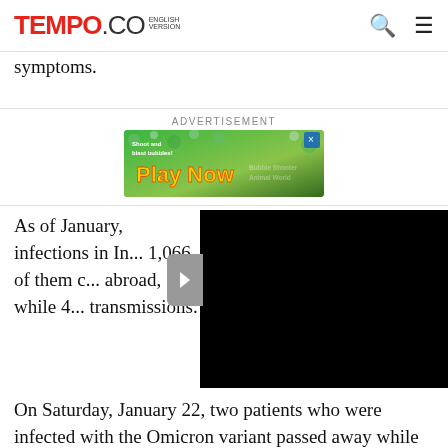TEMPO.CO ENGLISH VERSION
symptoms.
ADVERTISEMENT
[Figure (screenshot): Advertisement banner: 'Shoot and blast bubbles! Play Now' game ad with colorful bubble shooter imagery. Bubble Shooter Animal World.]
As of January, infections in In... 1,066 of them c... abroad, while 4... transmissions.
On Saturday, January 22, two patients who were infected with the Omicron variant passed away while undergoing hospital treatment. One of